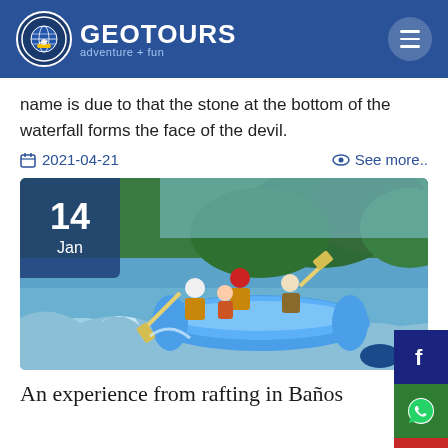GEOTOURS adventure + fun
name is due to that the stone at the bottom of the waterfall forms the face of the devil.
2021-04-21   See more..
[Figure (photo): People white-water rafting in a blue inflatable raft on a river, wearing helmets and life vests, with green trees in background. Date badge shows 14 Jan.]
An experience from rafting in Baños